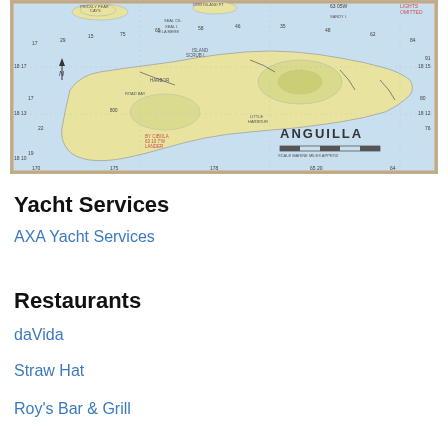[Figure (map): Nautical chart map of Anguilla island showing depth soundings, coastal features, and navigation information. The island is shown in pale yellow/green with surrounding light blue water. Labels include 'ANGUILLA' in large text with a scale bar.]
Yacht Services
AXA Yacht Services
Restaurants
daVida
Straw Hat
Roy's Bar & Grill